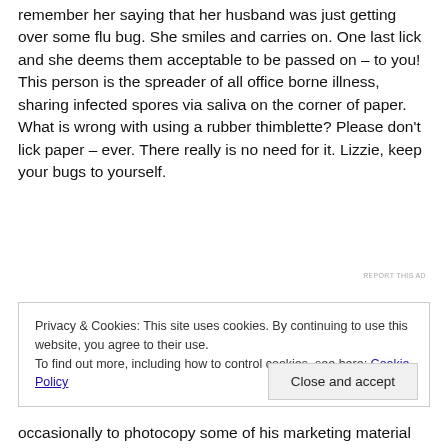remember her saying that her husband was just getting over some flu bug. She smiles and carries on. One last lick and she deems them acceptable to be passed on – to you! This person is the spreader of all office borne illness, sharing infected spores via saliva on the corner of paper. What is wrong with using a rubber thimblette? Please don't lick paper – ever. There really is no need for it. Lizzie, keep your bugs to yourself.
REPORT THIS AD
Privacy & Cookies: This site uses cookies. By continuing to use this website, you agree to their use.
To find out more, including how to control cookies, see here: Cookie Policy
Close and accept
occasionally to photocopy some of his marketing material